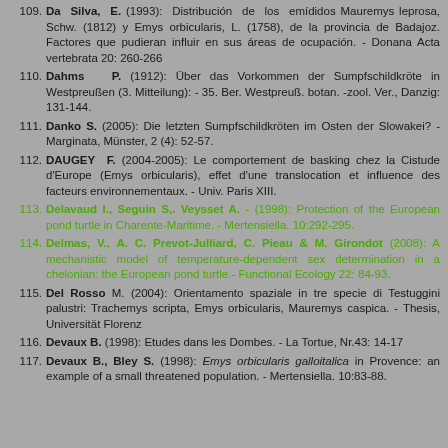109. Da Silva, E. (1993): Distribución de los emídidos Mauremys leprosa, Schw. (1812) y Emys orbicularis, L. (1758), de la provincia de Badajoz. Factores que pudieran influir en sus áreas de ocupación. - Donana Acta vertebrata 20: 260-266
110. Dahms P. (1912): Über das Vorkommen der Sumpfschildkröte in Westpreußen (3. Mitteilung): - 35. Ber. Westpreuß. botan. -zool. Ver., Danzig: 131-144.
111. Danko S. (2005): Die letzten Sumpfschildkröten im Osten der Slowakei? - Marginata, Münster, 2 (4): 52-57.
112. DAUGEY F. (2004-2005): Le comportement de basking chez la Cistude d'Europe (Emys orbicularis), effet d'une translocation et influence des facteurs environnementaux. - Univ. Paris XIII.
113. Delavaud I., Seguin S,. Veysset A. - (1998): Protection of the European pond turtle in Charente-Maritime. - Mertensiella. 10:292-295.
114. Delmas, V., A. C. Prevot-Julliard, C. Pieau & M. Girondot (2008): A mechanistic model of temperature-dependent sex determination in a chelonian: the European pond turtle.- Functional Ecology 22: 84-93.
115. Del Rosso M. (2004): Orientamento spaziale in tre specie di Testuggini palustri: Trachemys scripta, Emys orbicularis, Mauremys caspica. - Thesis, Universität Florenz
116. Devaux B. (1998): Etudes dans les Dombes. - La Tortue, Nr.43: 14-17
117. Devaux B., Bley S. (1998): Emys orbicularis galloitalica in Provence: an example of a small threatened population. - Mertensiella. 10:83-88.